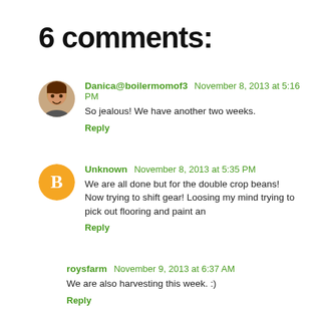6 comments:
Danica@boilermomof3  November 8, 2013 at 5:16 PM
So jealous! We have another two weeks.
Reply
Unknown  November 8, 2013 at 5:35 PM
We are all done but for the double crop beans! Now trying to shift gear! Loosing my mind trying to pick out flooring and paint an
Reply
roysfarm  November 9, 2013 at 6:37 AM
We are also harvesting this week. :)
Reply